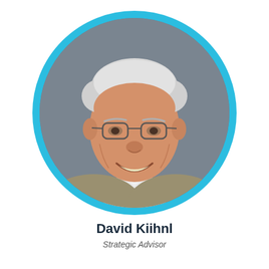[Figure (photo): Circular profile photo of David Kiihnl, an older gentleman with white hair, glasses, and a smile, wearing a light blazer and white shirt, set against a gray background. The photo is framed in a cyan/light blue circle border.]
David Kiihnl
Strategic Advisor